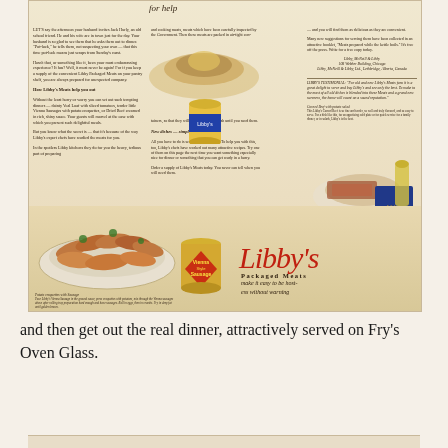[Figure (illustration): Vintage Libby's Packaged Meats full-page magazine advertisement showing food illustrations including a serving platter, canned goods, meats, sausages on a plate, and a can of Vienna Style Sausage. Text columns describe the product benefits. The Libby's script logo appears at bottom right with tagline 'Packaged Meats make it easy to be hostess without warning'.]
and then get out the real dinner, attractively served on Fry's Oven Glass.
[Figure (illustration): Bottom partial strip of another advertisement page, cropped.]